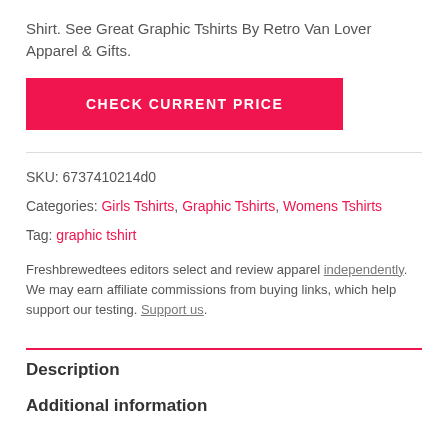Shirt. See Great Graphic Tshirts By Retro Van Lover Apparel & Gifts.
CHECK CURRENT PRICE
SKU: 6737410214d0
Categories: Girls Tshirts, Graphic Tshirts, Womens Tshirts
Tag: graphic tshirt
Freshbrewedtees editors select and review apparel independently. We may earn affiliate commissions from buying links, which help support our testing. Support us.
Description
Additional information